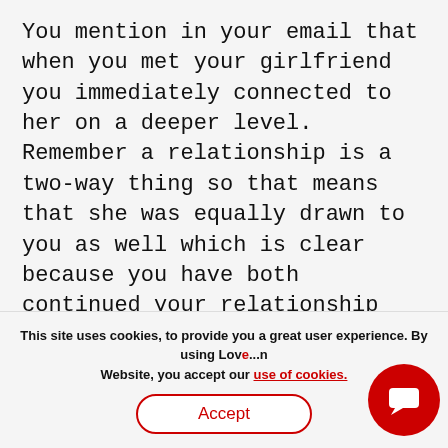You mention in your email that when you met your girlfriend you immediately connected to her on a deeper level. Remember a relationship is a two-way thing so that means that she was equally drawn to you as well which is clear because you have both continued your relationship for six months now. Remind yourself what it was that drew you both to each other.

A good tip can be to write down all of the things that you love about her as well as all of the things that you both love to do. The writing it down will help to stop your
This site uses cookies, to provide you a great user experience. By using Love[…] Website, you accept our use of cookies.